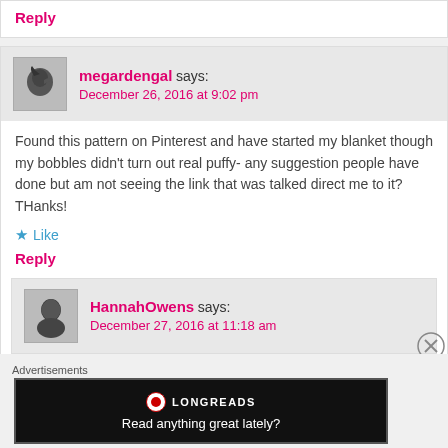Reply
megardengal says:
December 26, 2016 at 9:02 pm
Found this pattern on Pinterest and have started my blanket though my bobbles didn't turn out real puffy- any suggestion people have done but am not seeing the link that was talked direct me to it? THanks!
Like
Reply
HannahOwens says:
December 27, 2016 at 11:18 am
Advertisements
[Figure (infographic): Longreads advertisement banner with logo and tagline 'Read anything great lately?']